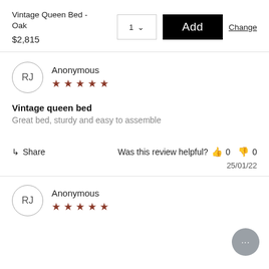Vintage Queen Bed - Oak
$2,815
1
Add
Change
Anonymous
★★★★★
Vintage queen bed
Great bed, sturdy and easy to assemble
Share
Was this review helpful? 👍0 👎0
25/01/22
Anonymous
★★★★★